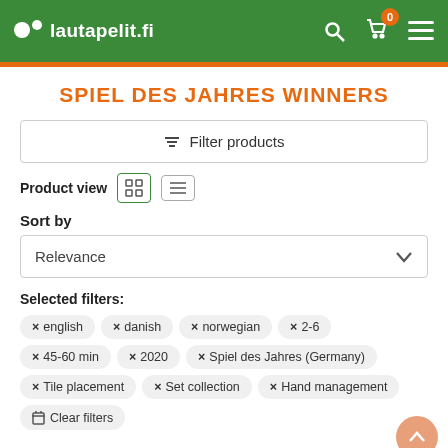lautapelit.fi
SPIEL DES JAHRES WINNERS
Filter products
Product view
Sort by
Relevance
Selected filters:
× english
× danish
× norwegian
× 2-6
× 45-60 min
× 2020
× Spiel des Jahres (Germany)
× Tile placement
× Set collection
× Hand management
🗑 Clear filters